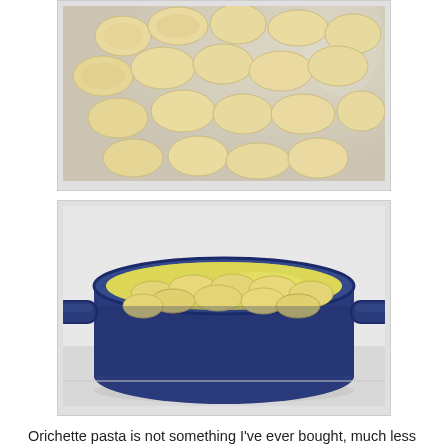[Figure (photo): Orichette pasta pieces in a plastic bag, raw and dusted with flour, cream/yellow colored shell-shaped pasta]
[Figure (photo): Blue enamel Dutch oven pot filled with orichette pasta cooking in water on a white stovetop]
Orichette pasta is not something I've ever bought, much less made, but these turned out perfect. I used a straight